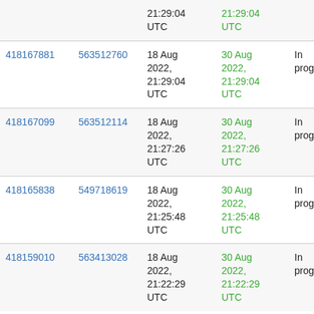|  |  | 21:29:04 UTC | 21:29:04 UTC |  |  |  |
| 418167881 | 563512760 | 18 Aug 2022, 21:29:04 UTC | 30 Aug 2022, 21:29:04 UTC | In progress | --- | --- |
| 418167099 | 563512114 | 18 Aug 2022, 21:27:26 UTC | 30 Aug 2022, 21:27:26 UTC | In progress | --- | --- |
| 418165838 | 549718619 | 18 Aug 2022, 21:25:48 UTC | 30 Aug 2022, 21:25:48 UTC | In progress | --- | --- |
| 418159010 | 563413028 | 18 Aug 2022, 21:22:29 UTC | 30 Aug 2022, 21:22:29 UTC | In progress | --- | --- |